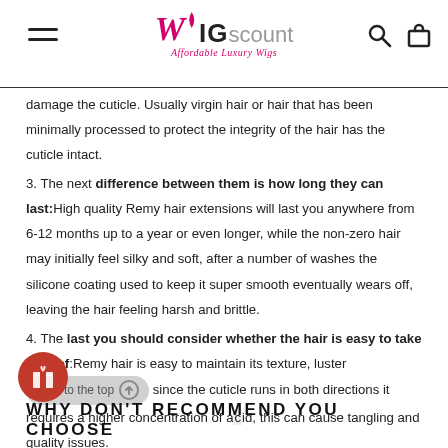WIGscount - Affordable Luxury Wigs
damage the cuticle. Usually virgin hair or hair that has been minimally processed to protect the integrity of the hair has the cuticle intact.
3. The next difference between them is how long they can last: High quality Remy hair extensions will last you anywhere from 6-12 months up to a year or even longer, while the non-zero hair may initially feel silky and soft, after a number of washes the silicone coating used to keep it super smooth eventually wears off, leaving the hair feeling harsh and brittle.
4. The last you should consider whether the hair is easy to take care of: Remy hair is easy to maintain its texture, luster… since the cuticle runs in both directions it requires a higher concentration of acid, this can cause tangling and quality issues.
WHY DON'T RECOMMEND YOU CHOOSE